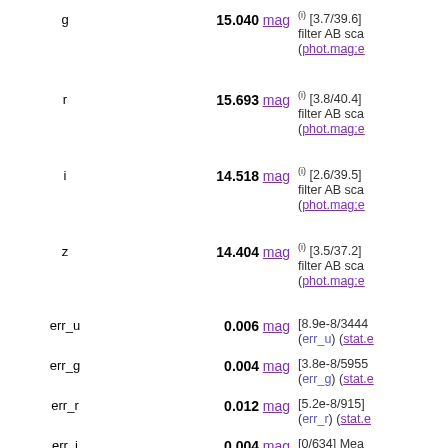| Name | Value | Unit | Description |
| --- | --- | --- | --- |
| g | 15.040 | mag | (i) [3.7/39.6] filter AB sca (phot.mag;e |
| r | 15.693 | mag | (i) [3.8/40.4] filter AB sca (phot.mag;e |
| i | 14.518 | mag | (i) [2.6/39.5] filter AB sca (phot.mag;e |
| z | 14.404 | mag | (i) [3.5/37.2] filter AB sca (phot.mag;e |
| err_u | 0.006 | mag | [8.9e-8/3444 (err_u) (stat.e |
| err_g | 0.004 | mag | [3.8e-8/5955 (err_g) (stat.e |
| err_r | 0.012 | mag | [5.2e-8/915] (err_r) (stat.e |
| err_i | 0.004 | mag | [0/634] Mean (stat.error;ph |
| err_z | 0.005 | mag | [9.4e-8/3529 (err_z) (stat.e |